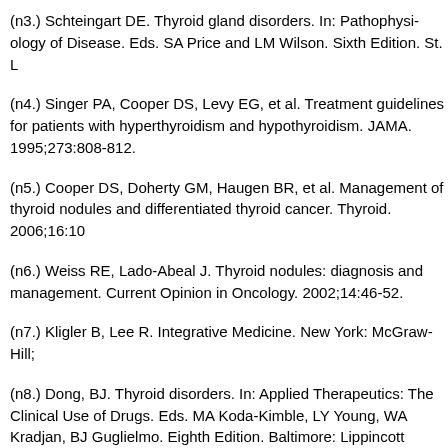(n3.) Schteingart DE. Thyroid gland disorders. In: Pathophysiology of Disease. Eds. SA Price and LM Wilson. Sixth Edition. St. L[ouis]...
(n4.) Singer PA, Cooper DS, Levy EG, et al. Treatment guidelines for patients with hyperthyroidism and hypothyroidism. JAMA. 1995;273:808-812.
(n5.) Cooper DS, Doherty GM, Haugen BR, et al. Management of thyroid nodules and differentiated thyroid cancer. Thyroid. 2006;16:1[...]
(n6.) Weiss RE, Lado-Abeal J. Thyroid nodules: diagnosis and management. Current Opinion in Oncology. 2002;14:46-52.
(n7.) Kligler B, Lee R. Integrative Medicine. New York: McGra[w-Hill]...
(n8.) Dong, BJ. Thyroid disorders. In: Applied Therapeutics: The Clinical Use of Drugs. Eds. MA Koda-Kimble, LY Young, WA Kradjan, BJ Guglielmo. Eighth Edition. Baltimore: Lippincott Williams & Wilkins, 2005.
(n9.) Phillipou G, Koutras DA, Piperingos G, et al. The effect of iodide on serum thyroid hormone levels in normal persons, in hyperthyroid patients, and in hypo[thyroid patients]...